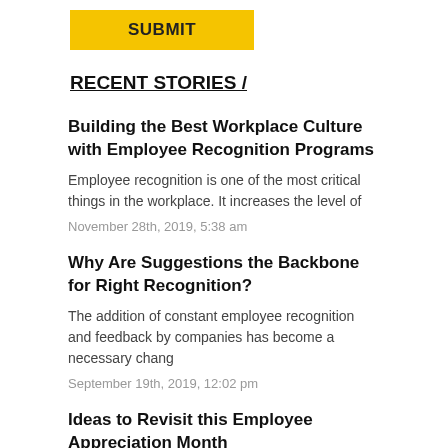[Figure (other): Yellow SUBMIT button]
RECENT STORIES /
Building the Best Workplace Culture with Employee Recognition Programs
Employee recognition is one of the most critical things in the workplace. It increases the level of
November 28th, 2019, 5:38 am
Why Are Suggestions the Backbone for Right Recognition?
The addition of constant employee recognition and feedback by companies has become a necessary chang
September 19th, 2019, 12:02 pm
Ideas to Revisit this Employee Appreciation Month